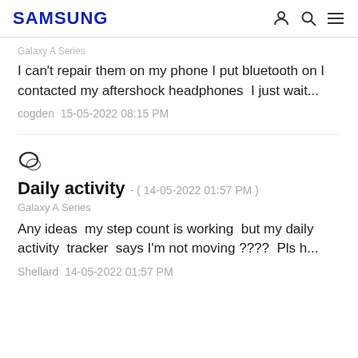SAMSUNG
Galaxy A Series
I can't repair them on my phone I put bluetooth on I contacted my aftershock headphones  I just wait...
cogden  15-05-2022 08:15 PM
Daily activity - ( 14-05-2022 01:57 PM )
Galaxy A Series
Any ideas  my step count is working  but my daily activity  tracker  says I'm not moving ????  Pls h...
Shellard  14-05-2022 01:57 PM